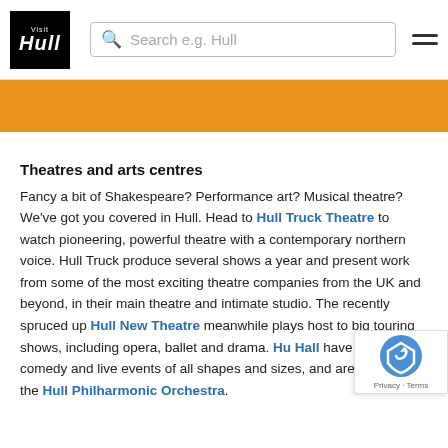Visit Hull logo | Search e.g. Hull | Hamburger menu
[Figure (other): Orange banner/hero image strip]
Theatres and arts centres
Fancy a bit of Shakespeare? Performance art? Musical theatre? We've got you covered in Hull. Head to Hull Truck Theatre to watch pioneering, powerful theatre with a contemporary northern voice. Hull Truck produce several shows a year and present work from some of the most exciting theatre companies from the UK and beyond, in their main theatre and intimate studio. The recently spruced up Hull New Theatre meanwhile plays host to big touring shows, including opera, ballet and drama. Hu[ll] Hall have gigs, comedy and live events of all shapes and sizes, and are home to the Hull Philharmonic Orchestra.